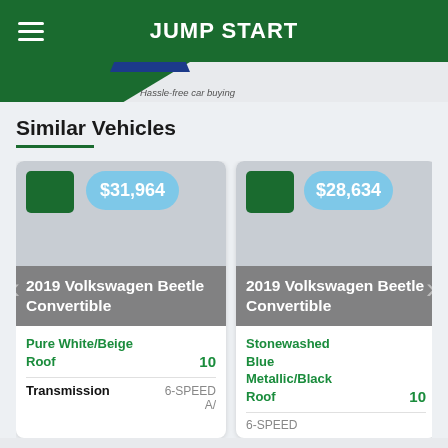JUMP START
Hassle-free car buying
Similar Vehicles
[Figure (screenshot): Vehicle card for 2019 Volkswagen Beetle Convertible priced at $31,964, Pure White/Beige Roof, mileage 10, 6-Speed A/ Transmission]
[Figure (screenshot): Vehicle card for 2019 Volkswagen Beetle Convertible priced at $28,634, Stonewashed Blue Metallic/Black Roof, mileage 10, 6-Speed transmission]